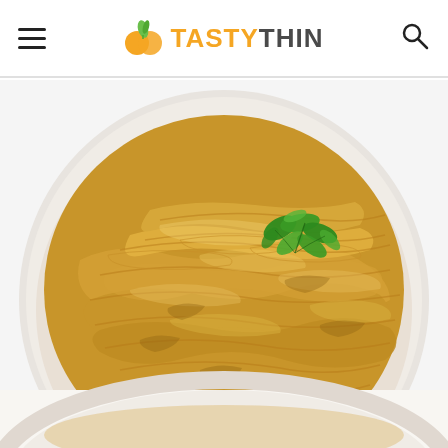TASTYTHIN navigation header with hamburger menu and search icon
[Figure (photo): Overhead view of shredded seasoned chicken in a white bowl, garnished with fresh green cilantro leaves, with a second partially visible white bowl below]